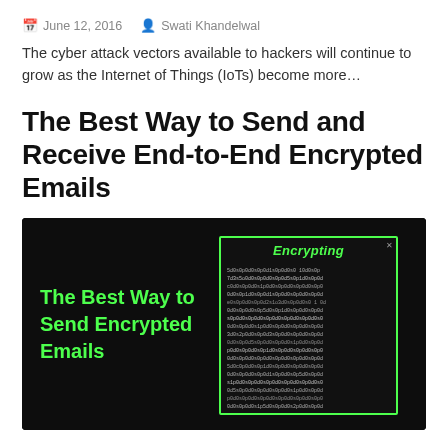June 12, 2016   Swati Khandelwal
The cyber attack vectors available to hackers will continue to grow as the Internet of Things (IoTs) become more…
The Best Way to Send and Receive End-to-End Encrypted Emails
[Figure (photo): Dark banner image showing green text 'The Best Way to Send Encrypted Emails' on left, and a green-bordered box labeled 'Encrypting' with a grid of alphanumeric characters on right, against a dark background.]